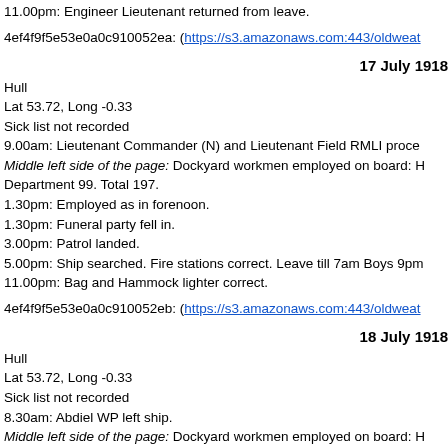11.00pm: Engineer Lieutenant returned from leave.
4ef4f9f5e53e0a0c910052ea: (https://s3.amazonaws.com:443/oldweat
17 July 1918
Hull
Lat 53.72, Long -0.33
Sick list not recorded
9.00am: Lieutenant Commander (N) and Lieutenant Field RMLI proce
Middle left side of the page: Dockyard workmen employed on board: H
Department 99. Total 197.
1.30pm: Employed as in forenoon.
1.30pm: Funeral party fell in.
3.00pm: Patrol landed.
5.00pm: Ship searched. Fire stations correct. Leave till 7am Boys 9pm
11.00pm: Bag and Hammock lighter correct.
4ef4f9f5e53e0a0c910052eb: (https://s3.amazonaws.com:443/oldweat
18 July 1918
Hull
Lat 53.72, Long -0.33
Sick list not recorded
8.30am: Abdiel WP left ship.
Middle left side of the page: Dockyard workmen employed on board: H
Department 95. Total 196.
1.00pm: Employed as in forenoon.
1.30pm: Funeral party left ship.
4.10pm: Abdiel WP returned.
4.30pm: Surgeon Poole rejoined ship from leave.